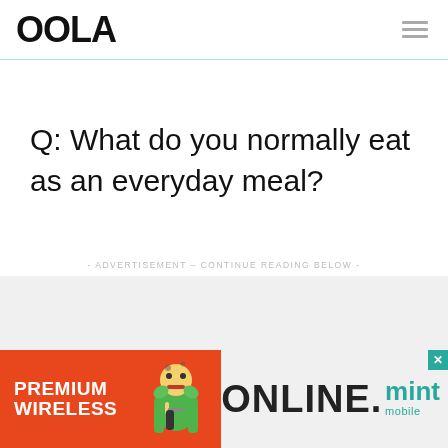OOLA
Q: What do you normally eat as an everyday meal?
- ADVERTISEMENT – CONTINUE READING BELOW -
[Figure (illustration): Advertisement banner: PREMIUM WIRELESS on orange background with cartoon mascot character, ONLINE. text, and mint mobile logo with close button]